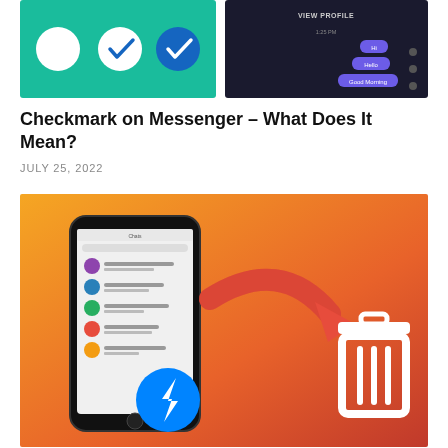[Figure (screenshot): Two mobile screenshots side by side: left shows a teal/green background with four circular icons (white empty circle, white circle with blue checkmark, blue filled circle with white checkmark, blue circle with white person silhouette); right shows a dark phone screen with 'VIEW PROFILE' text and chat bubbles saying Hi, Hello, Good Morning in purple.]
Checkmark on Messenger – What Does It Mean?
JULY 25, 2022
[Figure (illustration): Infographic on orange-to-red gradient background showing a smartphone with Facebook Messenger app open (Chats list), a large red curved arrow pointing right, and a white trash can icon on the right side. Facebook Messenger blue lightning bolt logo appears over the phone.]